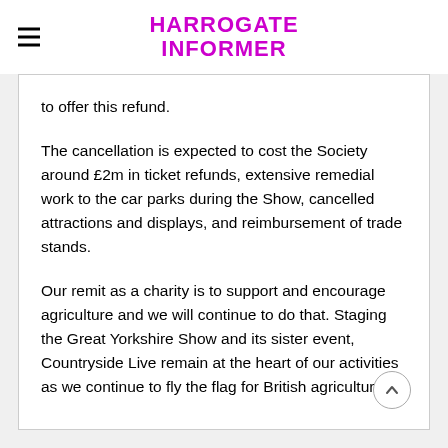HARROGATE INFORMER
to offer this refund.
The cancellation is expected to cost the Society around £2m in ticket refunds, extensive remedial work to the car parks during the Show, cancelled attractions and displays, and reimbursement of trade stands.
Our remit as a charity is to support and encourage agriculture and we will continue to do that. Staging the Great Yorkshire Show and its sister event, Countryside Live remain at the heart of our activities as we continue to fly the flag for British agriculture.